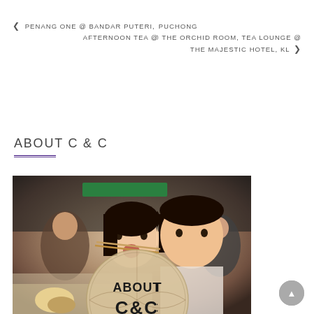PENANG ONE @ BANDAR PUTERI, PUCHONG
AFTERNOON TEA @ THE ORCHID ROOM, TEA LOUNGE @ THE MAJESTIC HOTEL, KL
ABOUT C & C
[Figure (photo): Photo of a couple at a restaurant, woman eating with chopsticks and man posing beside her, with an 'ABOUT C&C' circular overlay logo at bottom center]